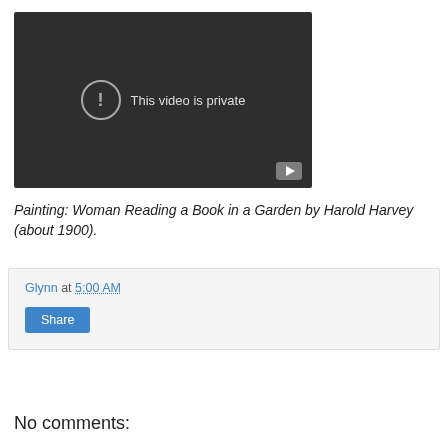[Figure (screenshot): Video player showing 'This video is private' message with a YouTube play button badge in the lower right corner. Dark background with a circle exclamation icon and text.]
Painting: Woman Reading a Book in a Garden by Harold Harvey (about 1900).
Glynn at 5:00 AM
Share
No comments: